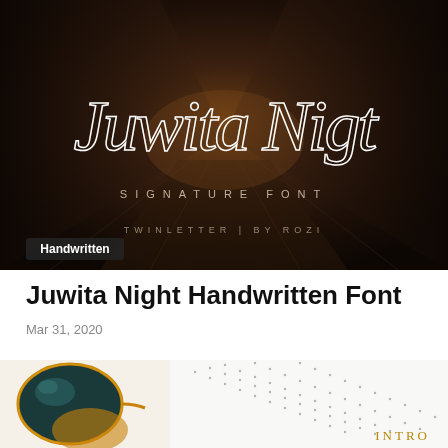[Figure (illustration): Dark atmospheric street alley photo with cursive script text reading 'Juwita Nigt' overlaid in white, with 'SIGNATURE FONT' in spaced caps below, and 'TWINLETTER | BY ROZI' at the bottom. A 'Handwritten' badge appears in the lower-left corner.]
Juwita Night Handwritten Font
Mar 31, 2020
[Figure (photo): Partial view of gold-framed sunglasses with dark teal lenses on the left side, and a white card/paper with dotted diagonal lines and the word 'INTRO' in gold on the right side.]